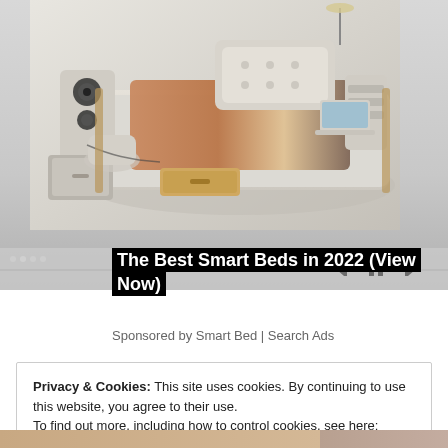[Figure (photo): A smart bed with multiple features including speakers, storage drawers, a massage chair unit on the left side, built-in lighting, shelves, and a laptop tray. The bed has cream/beige upholstery with wood accents.]
The Best Smart Beds in 2022 (View Now)
Sponsored by Smart Bed | Search Ads
Privacy & Cookies: This site uses cookies. By continuing to use this website, you agree to their use.
To find out more, including how to control cookies, see here:
Cookie Policy